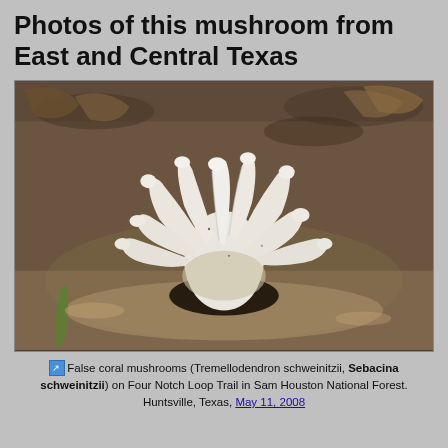Photos of this mushroom from East and Central Texas
[Figure (photo): Close-up photograph of white false coral mushrooms (Tremellodendron schweinitzii / Sebacina schweinitzii) growing from dark soil on Four Notch Loop Trail in Sam Houston National Forest, Huntsville, Texas. The mushroom has many branching white finger-like lobes.]
False coral mushrooms (Tremellodendron schweinitzii, Sebacina schweinitzii) on Four Notch Loop Trail in Sam Houston National Forest. Huntsville, Texas, May 11, 2008